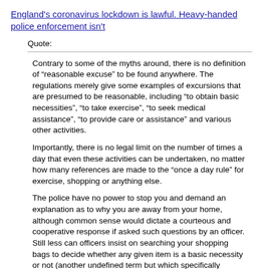England's coronavirus lockdown is lawful. Heavy-handed police enforcement isn't
Quote:
Contrary to some of the myths around, there is no definition of “reasonable excuse” to be found anywhere. The regulations merely give some examples of excursions that are presumed to be reasonable, including “to obtain basic necessities”, “to take exercise”, “to seek medical assistance”, “to provide care or assistance” and various other activities.

Importantly, there is no legal limit on the number of times a day that even these activities can be undertaken, no matter how many references are made to the “once a day rule” for exercise, shopping or anything else.

The police have no power to stop you and demand an explanation as to why you are away from your home, although common sense would dictate a courteous and cooperative response if asked such questions by an officer. Still less can officers insist on searching your shopping bags to decide whether any given item is a basic necessity or not (another undefined term but which specifically includes food and medical supplies).